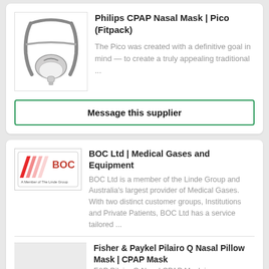[Figure (photo): CPAP nasal mask product photo - Philips Pico mask with headgear straps in grey and white]
Philips CPAP Nasal Mask | Pico (Fitpack)
The Pico was created with a definitive goal in mind — to create a truly appealing traditional ...
Message this supplier
[Figure (logo): BOC Ltd logo - red diagonal stripes with BOC text, A Member of The Linde Group]
BOC Ltd | Medical Gases and Equipment
BOC Ltd is a member of the Linde Group and Australia's largest provider of Medical Gases. With two distinct customer groups, Institutions and Private Patients, BOC Ltd has a service tailored ...
Fisher & Paykel Pilairo Q Nasal Pillow Mask | CPAP Mask
F&P Pilairo Q Nasal CPAP Mask is a